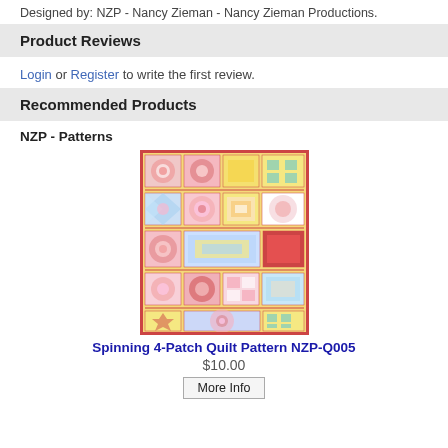Designed by: NZP - Nancy Zieman - Nancy Zieman Productions.
Product Reviews
Login or Register to write the first review.
Recommended Products
NZP - Patterns
[Figure (photo): Spinning 4-Patch Quilt Pattern product image showing a colorful patchwork quilt with yellow, pink, blue, red and white fabric blocks arranged in a grid pattern.]
Spinning 4-Patch Quilt Pattern NZP-Q005
$10.00
More Info